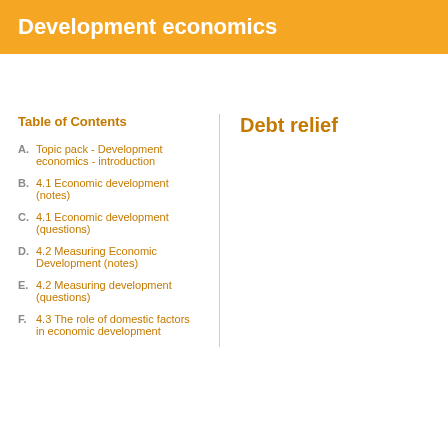Development economics
Table of Contents
A. Topic pack - Development economics - introduction
B. 4.1 Economic development (notes)
C. 4.1 Economic development (questions)
D. 4.2 Measuring Economic Development (notes)
E. 4.2 Measuring development (questions)
F. 4.3 The role of domestic factors in economic development
Debt relief